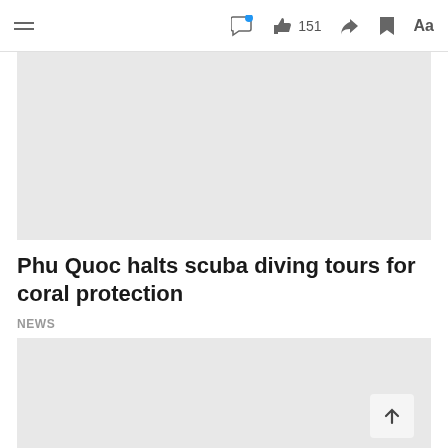≡  [comment icon] [like icon] 151 [share icon] [bookmark icon] Aa
[Figure (photo): Gray placeholder image at top of article]
Phu Quoc halts scuba diving tours for coral protection
NEWS
[Figure (photo): Gray placeholder image below article title]